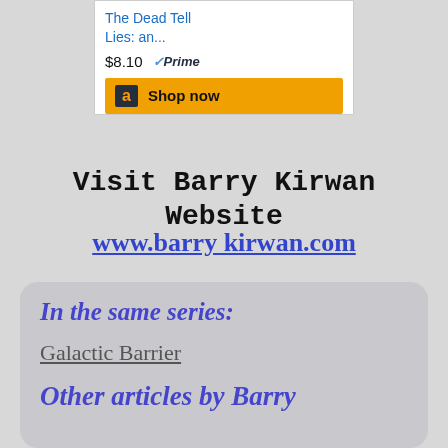[Figure (screenshot): Amazon widget showing 'The Dead Tell Lies: an...' priced at $8.10 with Prime badge and a Shop now button with Amazon logo]
Visit Barry Kirwan Website
www.barrykirwan.com
In the same series:
Galactic Barrier
Other articles by Barry